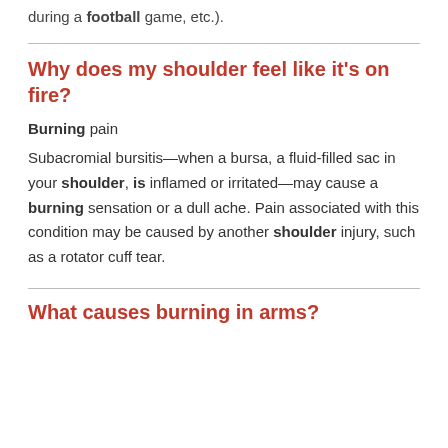during a football game, etc.).
Why does my shoulder feel like it's on fire?
Burning pain
Subacromial bursitis—when a bursa, a fluid-filled sac in your shoulder, is inflamed or irritated—may cause a burning sensation or a dull ache. Pain associated with this condition may be caused by another shoulder injury, such as a rotator cuff tear.
What causes burning in arms?